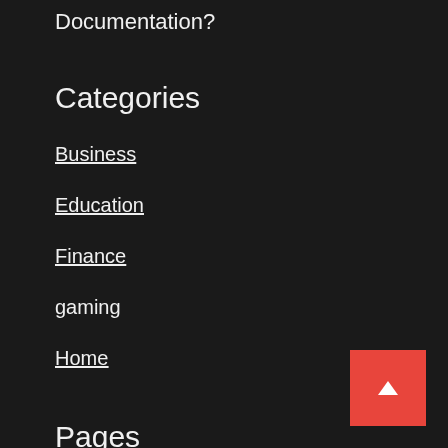Documentation?
Categories
Business
Education
Finance
gaming
Home
Pages
About Us